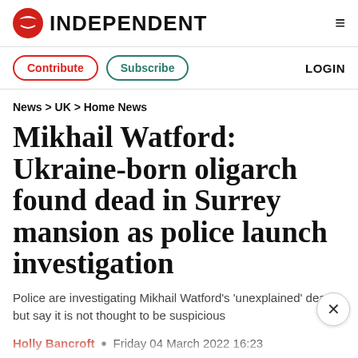INDEPENDENT
Contribute  Subscribe  LOGIN
News > UK > Home News
Mikhail Watford: Ukraine-born oligarch found dead in Surrey mansion as police launch investigation
Police are investigating Mikhail Watford's 'unexplained' death but say it is not thought to be suspicious
Holly Bancroft • Friday 04 March 2022 16:23